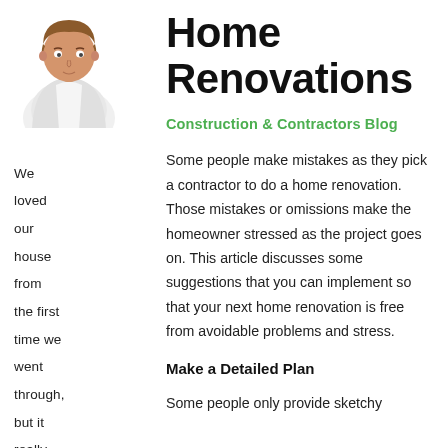[Figure (illustration): Cartoon avatar of a professional man in a white shirt and dark tie, torso and head visible, neutral expression, brown hair]
We loved our house from the first time we went through, but it really didn't have
Home Renovations
Construction & Contractors Blog
Some people make mistakes as they pick a contractor to do a home renovation. Those mistakes or omissions make the homeowner stressed as the project goes on. This article discusses some suggestions that you can implement so that your next home renovation is free from avoidable problems and stress.
Make a Detailed Plan
Some people only provide sketchy